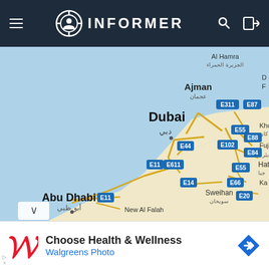INFORMER - navigation bar with hamburger menu, logo/icon, and key/login icons
[Figure (map): Google Maps screenshot showing UAE region including Dubai, Ajman, Abu Dhabi, Sweihan, New Al Falah, Hatta, with road labels E311, E87, E55, E88, E84, E102, E44, E611, E11, E55, E14, E66, E20, and Al Hamra / الجزيرة الحمراء, عجمان, دبي, أبو ظبي labels. The map shows the Persian Gulf coastline.]
Choose Health & Wellness
Walgreens Photo